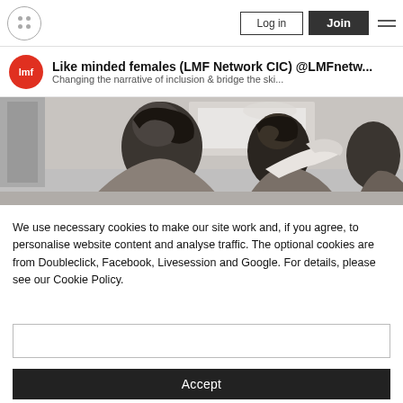Log in | Join | menu
Like minded females (LMF Network CIC) @LMFnetw... Changing the narrative of inclusion & bridge the ski...
[Figure (photo): Black and white photo of people in a meeting room, viewed from the side/back, one person appears to be presenting]
We use necessary cookies to make our site work and, if you agree, to personalise website content and analyse traffic. The optional cookies are from Doubleclick, Facebook, Livesession and Google. For details, please see our Cookie Policy.
Accept